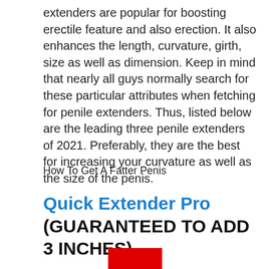extenders are popular for boosting erectile feature and also erection. It also enhances the length, curvature, girth, size as well as dimension. Keep in mind that nearly all guys normally search for these particular attributes when fetching for penile extenders. Thus, listed below are the leading three penile extenders of 2021. Preferably, they are the best for increasing your curvature as well as the size of the penis.
How To Get A Fatter Penis
Quick Extender Pro (GUARANTEED TO ADD 3 INCHES)
[Figure (other): Red rectangle button partially visible at bottom of page]